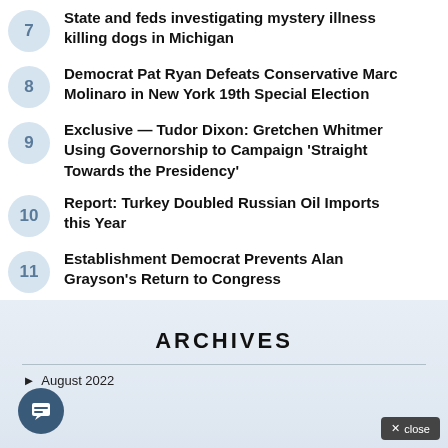7 — State and feds investigating mystery illness killing dogs in Michigan
8 — Democrat Pat Ryan Defeats Conservative Marc Molinaro in New York 19th Special Election
9 — Exclusive — Tudor Dixon: Gretchen Whitmer Using Governorship to Campaign 'Straight Towards the Presidency'
10 — Report: Turkey Doubled Russian Oil Imports this Year
11 — Establishment Democrat Prevents Alan Grayson's Return to Congress
ARCHIVES
August 2022